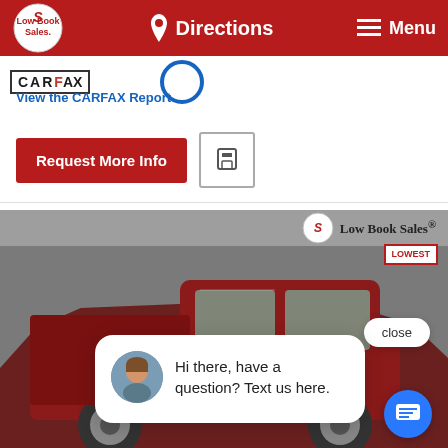Directions | Menu
[Figure (screenshot): CARFAX logo with 'View the CARFAX Report' link and a blue circular badge]
View the CARFAX Report
Request More Info
[Figure (photo): Dark red/maroon pickup truck (Ram 1500) parked in a dealership showroom with Low Book Sales branding. A chat popup overlay shows a female agent avatar and the text 'Hi there, have a question? Text us here.' A close button and blue chat bubble button are also visible.]
Hi there, have a question? Text us here.
close